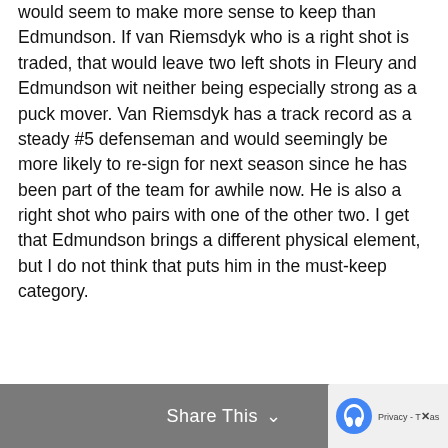would seem to make more sense to keep than Edmundson. If van Riemsdyk who is a right shot is traded, that would leave two left shots in Fleury and Edmundson wit neither being especially strong as a puck mover. Van Riemsdyk has a track record as a steady #5 defenseman and would seemingly be more likely to re-sign for next season since he has been part of the team for awhile now. He is also a right shot who pairs with one of the other two. I get that Edmundson brings a different physical element, but I do not think that puts him in the must-keep category.
Share This